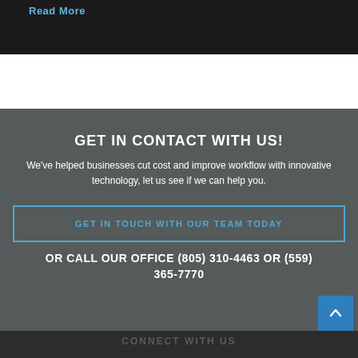Read More
GET IN CONTACT WITH US!
We've helped businesses cut cost and improve workflow with innovative technology, let us see if we can help you.
GET IN TOUCH WITH OUR TEAM TODAY
OR CALL OUR OFFICE (805) 310-4463 OR (559) 365-7770
CONNECT WITH US